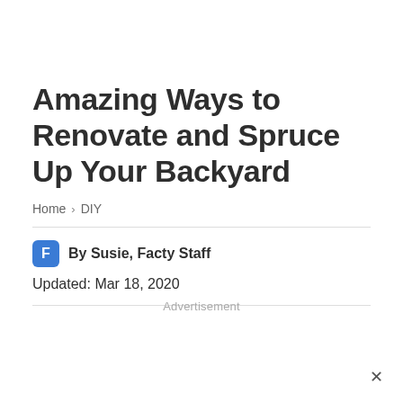Amazing Ways to Renovate and Spruce Up Your Backyard
Home > DIY
By Susie, Facty Staff
Updated: Mar 18, 2020
Advertisement